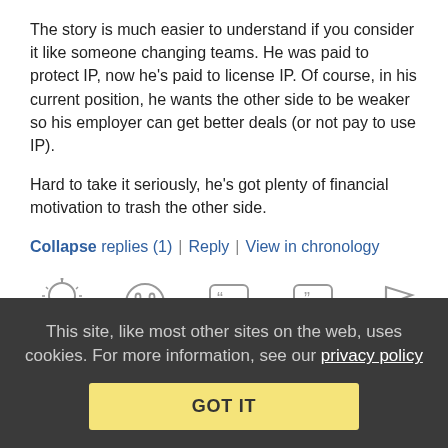The story is much easier to understand if you consider it like someone changing teams. He was paid to protect IP, now he's paid to license IP. Of course, in his current position, he wants the other side to be weaker so his employer can get better deals (or not pay to use IP).

Hard to take it seriously, he's got plenty of financial motivation to trash the other side.
Collapse replies (1) | Reply | View in chronology
[Figure (infographic): Row of 5 comment action icons: lightbulb, laughing emoji, left-quote bubble, right-quote bubble, flag]
[2]
This site, like most other sites on the web, uses cookies. For more information, see our privacy policy
GOT IT